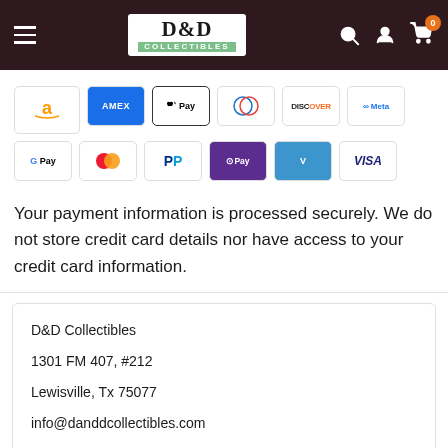D&D Collectibles header with navigation icons
[Figure (logo): D&D Collectibles logo with hamburger menu and cart/user/search icons]
[Figure (other): Payment method icons: Amazon, Amex, Apple Pay, Diners Club, Discover, Meta, Google Pay, Mastercard, PayPal, OPay, Venmo, Visa]
Your payment information is processed securely. We do not store credit card details nor have access to your credit card information.
D&D Collectibles
1301 FM 407, #212
Lewisville, Tx 75077
info@danddcollectibles.com
Accept
Province